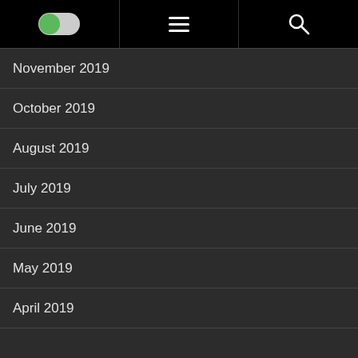[Toggle] [Menu] [Search]
November 2019
October 2019
August 2019
July 2019
June 2019
May 2019
April 2019